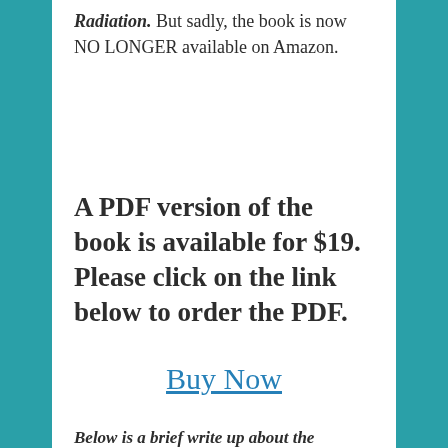Radiation.  But sadly, the book is now NO LONGER available on Amazon.
A PDF version of the book is available for $19.  Please click on the link below to order the PDF.
Buy Now
Below is a brief write up about the